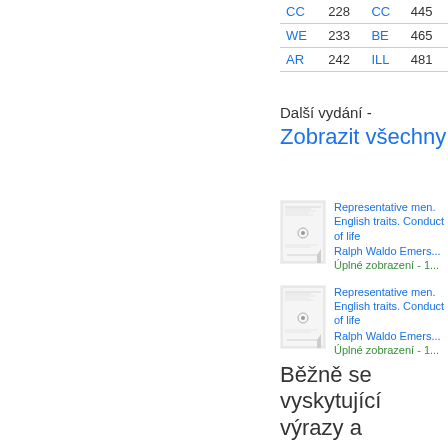| Code | Num | Code | Num |
| --- | --- | --- | --- |
| CC | 228 | CC | 445 |
| WE | 233 | BE | 465 |
| AR | 242 | ILL | 481 |
Další vydání - Zobrazit všechny
[Figure (illustration): Book cover thumbnail for Representative men / English traits. Conduct of life]
Representative men. English traits. Conduct of life
Ralph Waldo Emers...
Úplné zobrazení - 1...
[Figure (illustration): Book cover thumbnail for Representative men / English traits. Conduct of life (second entry)]
Representative men. English traits. Conduct of life
Ralph Waldo Emers...
Úplné zobrazení - 1...
Běžně se vyskytující výrazy a